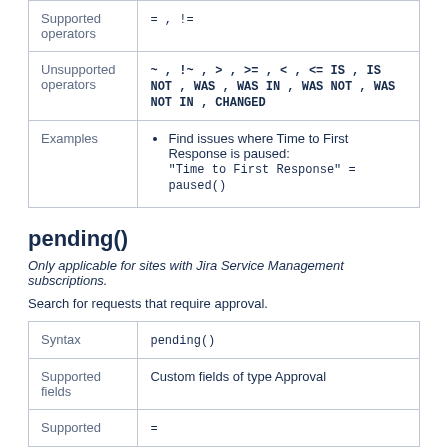|  |  |
| --- | --- |
| Supported operators | = , != |
| Unsupported operators | ~ , !~ , > , >= , < , <= IS , IS NOT , WAS , WAS IN , WAS NOT , WAS NOT IN , CHANGED |
| Examples | Find issues where Time to First Response is paused: "Time to First Response" = paused() |
pending()
Only applicable for sites with Jira Service Management subscriptions.
Search for requests that require approval.
|  |  |
| --- | --- |
| Syntax | pending() |
| Supported fields | Custom fields of type Approval |
| Supported |  |